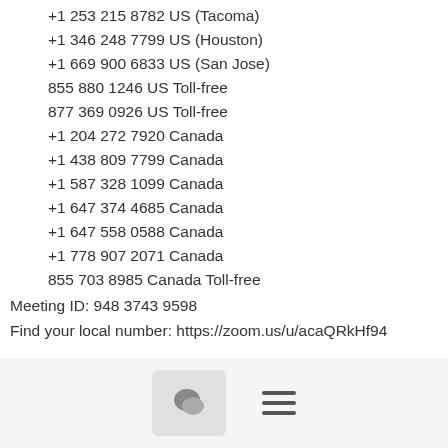+1 253 215 8782 US (Tacoma)
+1 346 248 7799 US (Houston)
+1 669 900 6833 US (San Jose)
855 880 1246 US Toll-free
877 369 0926 US Toll-free
+1 204 272 7920 Canada
+1 438 809 7799 Canada
+1 587 328 1099 Canada
+1 647 374 4685 Canada
+1 647 558 0588 Canada
+1 778 907 2071 Canada
855 703 8985 Canada Toll-free
Meeting ID: 948 3743 9598
Find your local number: https://zoom.us/u/acaQRkHf94
View Event
OpenColorIO-Config-ACES Working Group